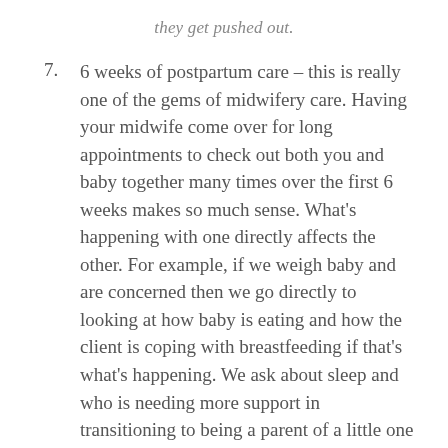they get pushed out.
6 weeks of postpartum care – this is really one of the gems of midwifery care. Having your midwife come over for long appointments to check out both you and baby together many times over the first 6 weeks makes so much sense. What’s happening with one directly affects the other. For example, if we weigh baby and are concerned then we go directly to looking at how baby is eating and how the client is coping with breastfeeding if that’s what’s happening. We ask about sleep and who is needing more support in transitioning to being a parent of a little one – no small life change! Midwifery care can also be done alongside pediatric and OB/Gyn care to address more complex issues. (Didn’t get a chance to have a midwife for your pregnancy and birth? You can still have midwifery care just for the postpartum period!)